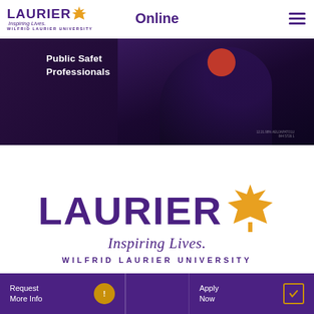[Figure (logo): Wilfrid Laurier University logo with maple leaf, Inspiring Lives tagline, in header navigation bar with Online text and hamburger menu]
[Figure (photo): Dark purple-toned video thumbnail showing text 'Public Safety Professionals' overlaid on a dark background with a person silhouette and a red circle badge]
[Figure (logo): Large Wilfrid Laurier University logo: LAURIER in large purple bold text with golden maple leaf, Inspiring Lives italic tagline, WILFRID LAURIER UNIVERSITY in spaced caps below]
[Figure (infographic): Purple bottom navigation bar with 'Request More Info' button with yellow exclamation icon and 'Apply Now' button with yellow checkbox icon]